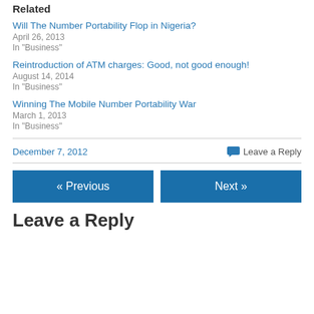Related
Will The Number Portability Flop in Nigeria?
April 26, 2013
In "Business"
Reintroduction of ATM charges: Good, not good enough!
August 14, 2014
In "Business"
Winning The Mobile Number Portability War
March 1, 2013
In "Business"
December 7, 2012   Leave a Reply
« Previous   Next »
Leave a Reply